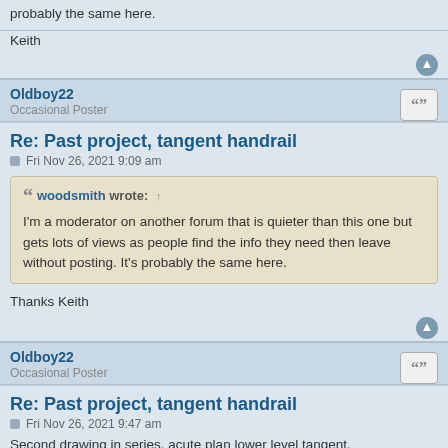probably the same here.
Keith
Oldboy22
Occasional Poster
Re: Past project, tangent handrail
Fri Nov 26, 2021 9:09 am
woodsmith wrote: ↑
I'm a moderator on another forum that is quieter than this one but gets lots of views as people find the info they need then leave without posting. It's probably the same here.
Thanks Keith
Oldboy22
Occasional Poster
Re: Past project, tangent handrail
Fri Nov 26, 2021 9:47 am
Second drawing in series, acute plan lower level tangent.